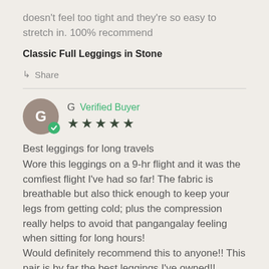doesn't feel too tight and they're so easy to stretch in. 100% recommend
Classic Full Leggings in Stone
Share
G  Verified Buyer ★★★★★
Best leggings for long travels
Wore this leggings on a 9-hr flight and it was the comfiest flight I've had so far! The fabric is breathable but also thick enough to keep your legs from getting cold; plus the compression really helps to avoid that pangangalay feeling when sitting for long hours!
Would definitely recommend this to anyone!! This pair is by far the best leggings I've owned!!
Classic Full Leggings in Stone